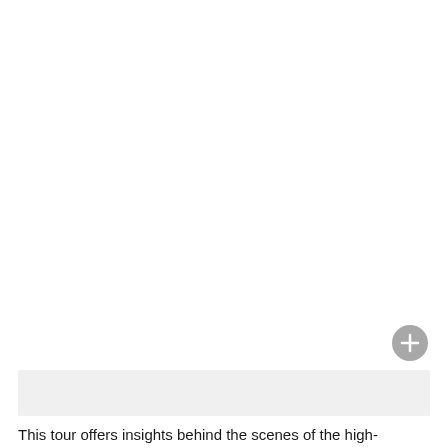[Figure (photo): Large white/blank image area occupying the upper portion of the page, with a circular gray plus button in the lower-right area of the image.]
[Figure (other): Light gray horizontal bar/panel below the image area.]
This tour offers insights behind the scenes of the high-